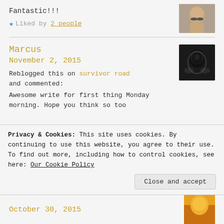Fantastic!!!
★ Liked by 2 people
Marcus
November 2, 2015
Reblogged this on survivor road and commented:
Awesome write for first thing Monday morning. Hope you think so too
Privacy & Cookies: This site uses cookies. By continuing to use this website, you agree to their use. To find out more, including how to control cookies, see here: Our Cookie Policy
Close and accept
October 30, 2015